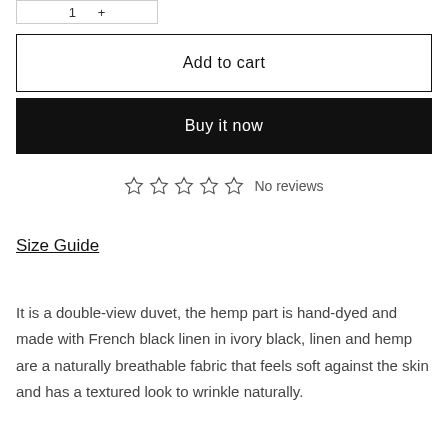[Figure (other): Quantity selector input box with increment/decrement controls, partially visible at top]
Add to cart
Buy it now
☆ ☆ ☆ ☆ ☆ No reviews
Size Guide
It is a double-view duvet, the hemp part is hand-dyed and made with French black linen in ivory black, linen and hemp are a naturally breathable fabric that feels soft against the skin and has a textured look to wrinkle naturally.